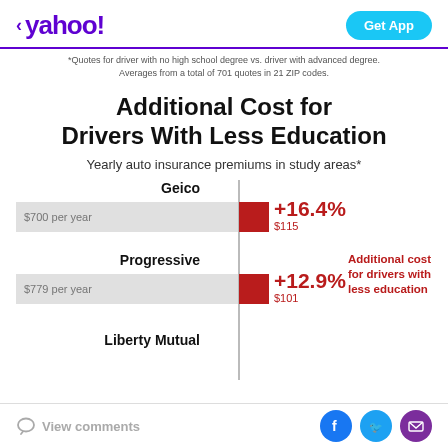< yahoo! | Get App
*Quotes for driver with no high school degree vs. driver with advanced degree. Averages from a total of 701 quotes in 21 ZIP codes.
Additional Cost for Drivers With Less Education
Yearly auto insurance premiums in study areas*
[Figure (bar-chart): Horizontal bar chart showing additional cost for drivers with less education for Geico (+16.4%, $115) and Progressive (+12.9%, $101). Liberty Mutual is partially visible at the bottom.]
View comments | Social share: Facebook, Twitter, Email